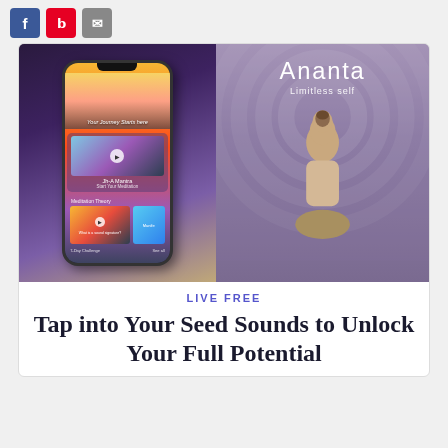[Figure (screenshot): Social sharing buttons: Facebook (blue), Pinterest (red), Email (gray)]
[Figure (screenshot): App screenshot showing an iPhone with the Ananta meditation app on the left, and the Ananta splash screen with a meditating woman on the right. The app shows 'Your Journey Starts here', 'Jh-A Mantra Start Your Meditation', 'Meditation Theory', 'What is a sound signature?', 'Manifest', '7-Day Challenge', 'See all'. The right panel shows 'Ananta' and 'Limitless self' with a woman meditating.]
LIVE FREE
Tap into Your Seed Sounds to Unlock Your Full Potential